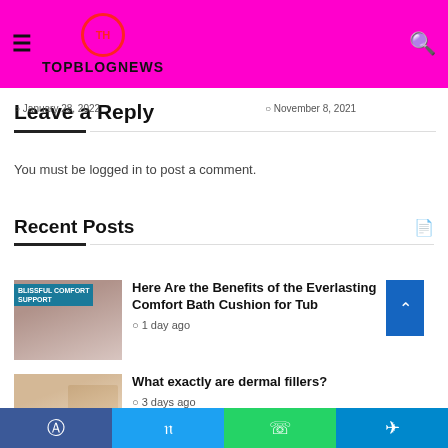TopBlogNews — hamburger menu, logo, search icon
What To Include A ... | January 28, 2022
Meme Templates of Animals | November 8, 2021
Leave a Reply
You must be logged in to post a comment.
Recent Posts
Here Are the Benefits of the Everlasting Comfort Bath Cushion for Tub
1 day ago
What exactly are dermal fillers?
3 days ago
Facebook | Twitter | WhatsApp | Telegram